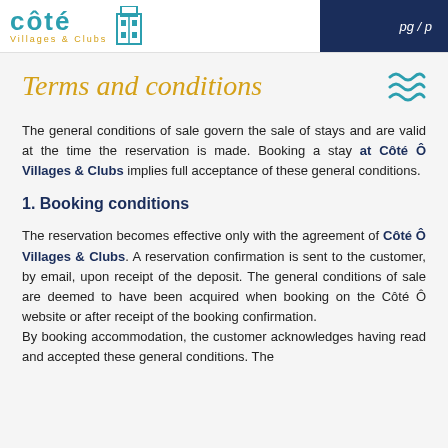Côté Villages & Clubs — page header with logo and dark blue right bar
Terms and conditions
The general conditions of sale govern the sale of stays and are valid at the time the reservation is made. Booking a stay at Côté Ô Villages & Clubs implies full acceptance of these general conditions.
1. Booking conditions
The reservation becomes effective only with the agreement of Côté Ô Villages & Clubs. A reservation confirmation is sent to the customer, by email, upon receipt of the deposit. The general conditions of sale are deemed to have been acquired when booking on the Côté Ô website or after receipt of the booking confirmation.
By booking accommodation, the customer acknowledges having read and accepted these general conditions. The